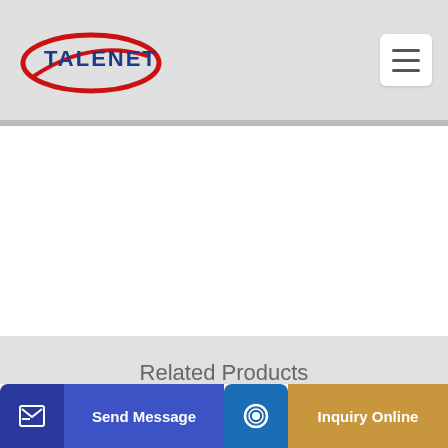[Figure (logo): Talenet logo with red oval and blue text]
Related Products
Diesel Jbts30 30m3 h Concrete Mixer And Pump Portable
Opening times for Concrete Pumping in Guildford
Send Message | Inquiry Online